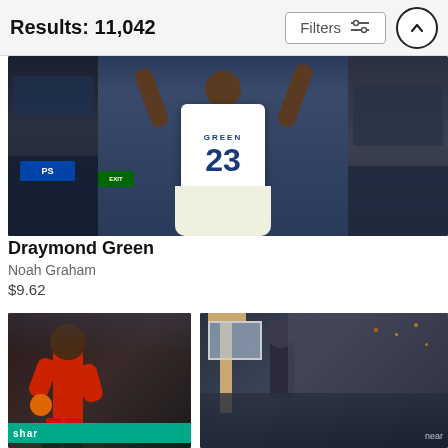Results: 11,042
Filters
[Figure (photo): Basketball player wearing Golden State Warriors jersey number 23 (Draymond Green) jumping with arms raised, crowd visible in background]
Draymond Green
Noah Graham
$9.62
[Figure (photo): Basketball player in red Atlanta Hawks uniform number 12 dribbling the ball]
[Figure (photo): Basketball player dunking or jumping near the basket with crowd in background]